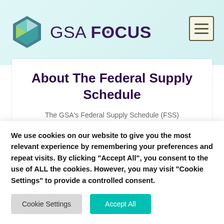[Figure (logo): GSA Focus logo with hexagon icon and brand name]
About The Federal Supply Schedule
The GSA's Federal Supply Schedule (FSS) program simplifies the procurement of commercial supplies and services for federal agencies, allowing them to save money by
We use cookies on our website to give you the most relevant experience by remembering your preferences and repeat visits. By clicking "Accept All", you consent to the use of ALL the cookies. However, you may visit "Cookie Settings" to provide a controlled consent.